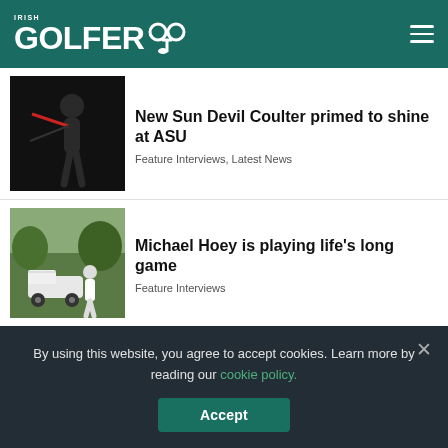IRISH GOLFER ☘
[Figure (photo): Golfer mid-swing against dark background]
New Sun Devil Coulter primed to shine at ASU
Feature Interviews, Latest News
[Figure (photo): Man standing beside golf cart on outdoor green course]
Michael Hoey is playing life's long game
Feature Interviews
By using this website, you agree to accept cookies. Learn more by reading our cookie policy.
Accept